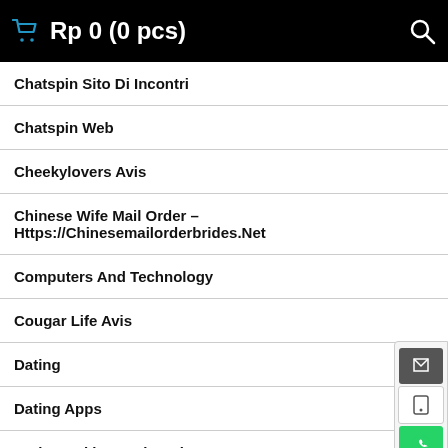Rp 0 (0 pcs)
Chatspin Sito Di Incontri
Chatspin Web
Cheekylovers Avis
Chinese Wife Mail Order – Https://Chinesemailorderbrides.Net
Computers And Technology
Cougar Life Avis
Dating
Dating Apps
Datingranking Dating Site
Datingreviewer.Net Sugar Daddy Dating Site
Escort Escort Reviews
Escort Escort Websites